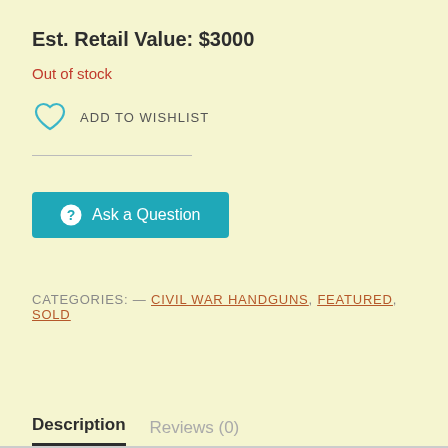Est. Retail Value: $3000
Out of stock
ADD TO WISHLIST
Ask a Question
CATEGORIES: — CIVIL WAR HANDGUNS, FEATURED, SOLD
Description   Reviews (0)